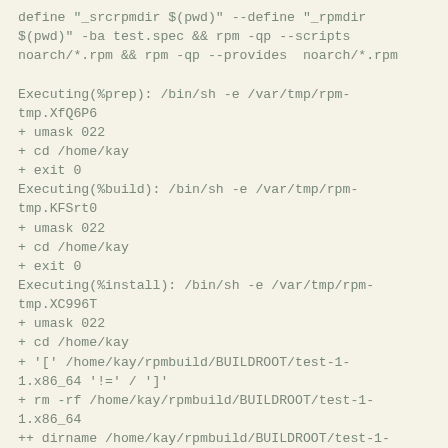define "_srcrpmdir $(pwd)" --define "_rpmdir $(pwd)" -ba test.spec && rpm -qp --scripts noarch/*.rpm && rpm -qp --provides  noarch/*.rpm

Executing(%prep): /bin/sh -e /var/tmp/rpm-tmp.XfQ6P6
+ umask 022
+ cd /home/kay
+ exit 0
Executing(%build): /bin/sh -e /var/tmp/rpm-tmp.KFSrt0
+ umask 022
+ cd /home/kay
+ exit 0
Executing(%install): /bin/sh -e /var/tmp/rpm-tmp.XC996T
+ umask 022
+ cd /home/kay
+ '[' /home/kay/rpmbuild/BUILDROOT/test-1-1.x86_64 '!=' / ']'
+ rm -rf /home/kay/rpmbuild/BUILDROOT/test-1-1.x86_64
++ dirname /home/kay/rpmbuild/BUILDROOT/test-1-1.x86_64